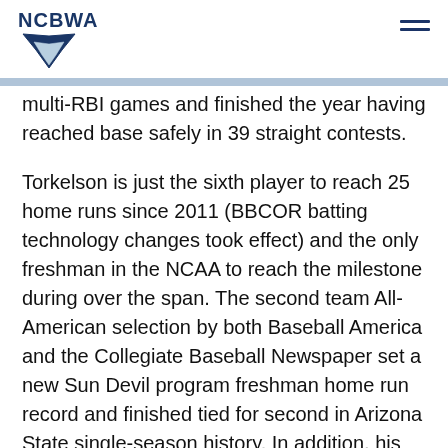NCBWA
multi-RBI games and finished the year having reached base safely in 39 straight contests.
Torkelson is just the sixth player to reach 25 home runs since 2011 (BBCOR batting technology changes took effect) and the only freshman in the NCAA to reach the milestone during over the span. The second team All-American selection by both Baseball America and the Collegiate Baseball Newspaper set a new Sun Devil program freshman home run record and finished tied for second in Arizona State single-season history. In addition, his slugging percentage is the third